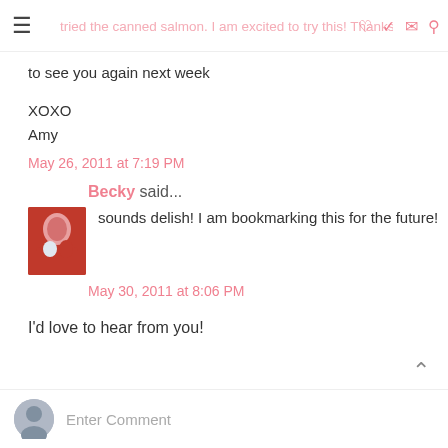tried the canned salmon. I am excited to try this! Thanks for linking up this week, hope to see you again next week
to see you again next week
XOXO
Amy
May 26, 2011 at 7:19 PM
Becky said...
sounds delish! I am bookmarking this for the future!
May 30, 2011 at 8:06 PM
I'd love to hear from you!
Enter Comment